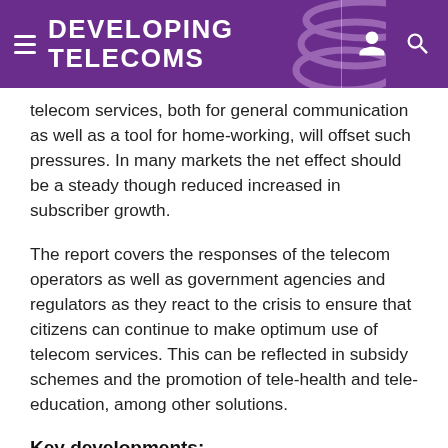DEVELOPING TELECOMS
telecom services, both for general communication as well as a tool for home-working, will offset such pressures. In many markets the net effect should be a steady though reduced increased in subscriber growth.
The report covers the responses of the telecom operators as well as government agencies and regulators as they react to the crisis to ensure that citizens can continue to make optimum use of telecom services. This can be reflected in subsidy schemes and the promotion of tele-health and tele-education, among other solutions.
Key developments:
Security concerns continuing to pose issues for safety of operators' telecom infrastructure;
Prepaid segment instrumental in encouraging mobile